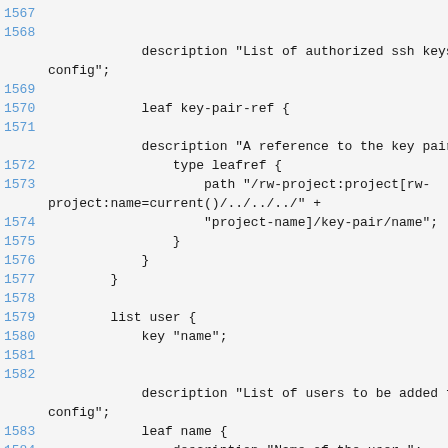Code listing lines 1567-1585 showing YANG model configuration for ssh keys, key-pair-ref leafref, and user list definitions.